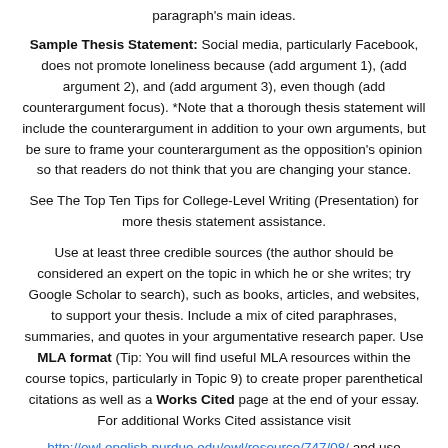paragraph's main ideas.
Sample Thesis Statement: Social media, particularly Facebook, does not promote loneliness because (add argument 1), (add argument 2), and (add argument 3), even though (add counterargument focus). *Note that a thorough thesis statement will include the counterargument in addition to your own arguments, but be sure to frame your counterargument as the opposition's opinion so that readers do not think that you are changing your stance.
See The Top Ten Tips for College-Level Writing (Presentation) for more thesis statement assistance.
Use at least three credible sources (the author should be considered an expert on the topic in which he or she writes; try Google Scholar to search), such as books, articles, and websites, to support your thesis. Include a mix of cited paraphrases, summaries, and quotes in your argumentative research paper. Use MLA format (Tip: You will find useful MLA resources within the course topics, particularly in Topic 9) to create proper parenthetical citations as well as a Works Cited page at the end of your essay. For additional Works Cited assistance visit
http://owl.english.purdue.edu/owl/resource/747/08/ and use